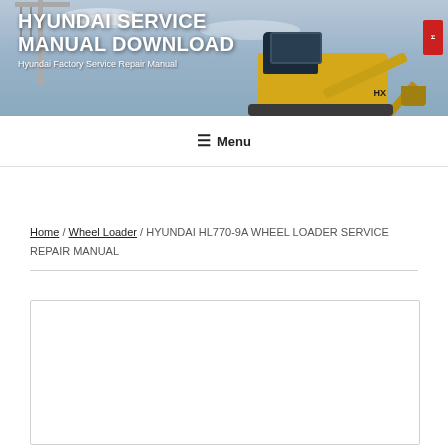[Figure (photo): Header banner showing a yellow Hyundai excavator/wheel loader against a sky background with crane visible, serving as website header image]
HYUNDAI SERVICE MANUAL DOWNLOAD
Hyundai Factory Service Repair Manual
Menu
Home / Wheel Loader / HYUNDAI HL770-9A WHEEL LOADER SERVICE REPAIR MANUAL